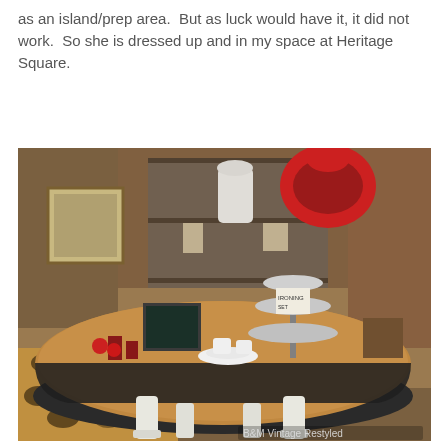as an island/prep area.  But as luck would have it, it did not work.  So she is dressed up and in my space at Heritage Square.
[Figure (photo): A round wooden table with white painted legs, displayed in a vintage/antique shop called B&M Vintage Restyled. The table top is natural wood colored and the base is painted white and dark. On top of the table are decorative items including a tiered serving stand, white cups, candles, and a chalkboard sign. The shop background shows shelving with various antiques and decorative items. The floor has a leopard print rug. A watermark reads 'B&M Vintage Restyled'.]